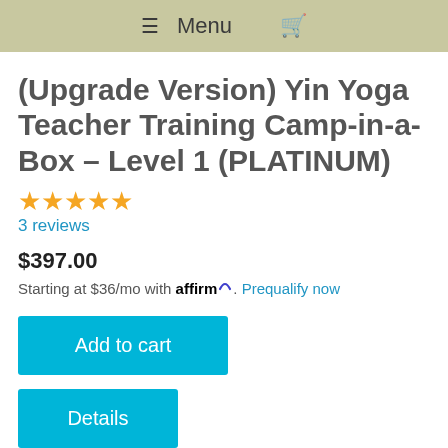Menu
(Upgrade Version) Yin Yoga Teacher Training Camp-in-a-Box – Level 1 (PLATINUM)
3 reviews
$397.00
Starting at $36/mo with affirm. Prequalify now
Add to cart
Details